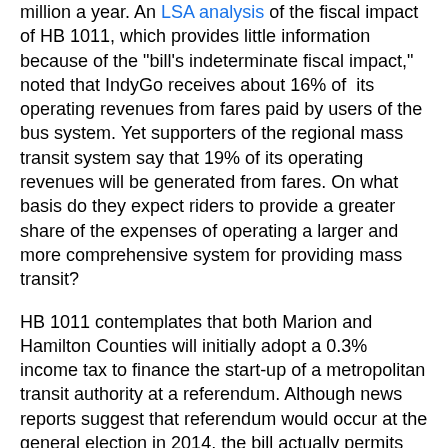million a year. An LSA analysis of the fiscal impact of HB 1011, which provides little information because of the "bill's indeterminate fiscal impact," noted that IndyGo receives about 16% of its operating revenues from fares paid by users of the bus system. Yet supporters of the regional mass transit system say that 19% of its operating revenues will be generated from fares. On what basis do they expect riders to provide a greater share of the expenses of operating a larger and more comprehensive system for providing mass transit?
HB 1011 contemplates that both Marion and Hamilton Counties will initially adopt a 0.3% income tax to finance the start-up of a metropolitan transit authority at a referendum. Although news reports suggest that referendum would occur at the general election in 2014, the bill actually permits the counties to conduct a special election this November for this purpose. The income tax in Marion County is expected to generate $51.1 million in 2014 compared to $33.6 million in Hamilton County, or a total of $84.7 million. The LSA analysis doesn't say anything about the TIF revenues that the authority plans to rely upon for additional revenues and that impact on other units of local government dependent on